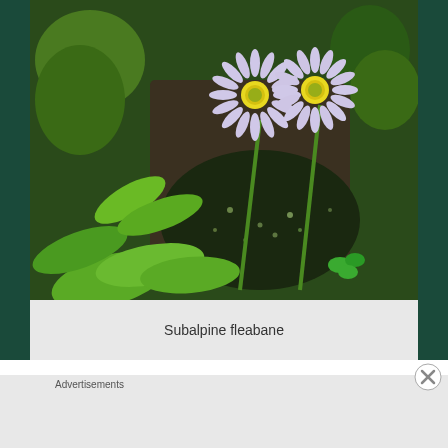[Figure (photo): Photo of two subalpine fleabane flowers (daisy-like, pale purple/white petals with yellow centers) growing among green leaves and foliage with a rocky, mossy background.]
Subalpine fleabane
Advertisements
[Figure (infographic): Jetpack advertisement banner with green background showing Jetpack logo (lightning bolt in white circle) and text 'Jetpack' on left, and a white button 'Secure Your Site' on right.]